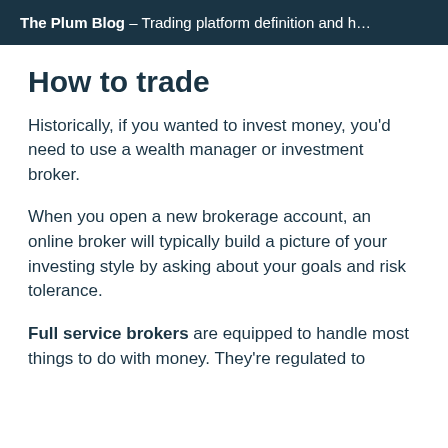The Plum Blog — Trading platform definition and h…
How to trade
Historically, if you wanted to invest money, you'd need to use a wealth manager or investment broker.
When you open a new brokerage account, an online broker will typically build a picture of your investing style by asking about your goals and risk tolerance.
Full service brokers are equipped to handle most things to do with money. They're regulated to